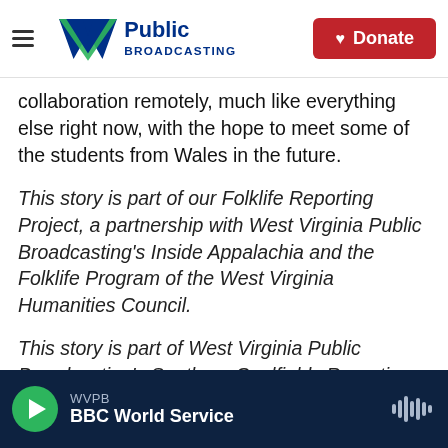WV Public Broadcasting | Donate
collaboration remotely, much like everything else right now, with the hope to meet some of the students from Wales in the future.
This story is part of our Folklife Reporting Project, a partnership with West Virginia Public Broadcasting's Inside Appalachia and the Folklife Program of the West Virginia Humanities Council.
This story is part of West Virginia Public Broadcasting's Southern Coalfields Reporting Project which is supported by a grant from the National Coal Heritage Area Authority.
WVPB | BBC World Service